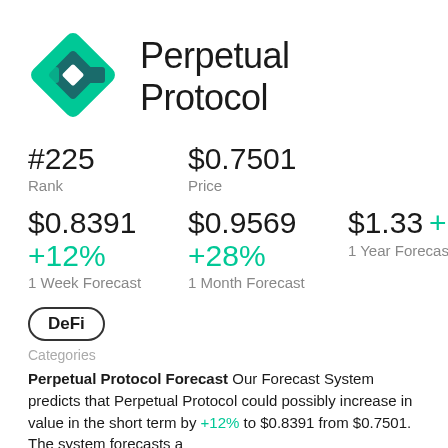[Figure (logo): Perpetual Protocol diamond-shaped logo in teal and dark teal]
Perpetual Protocol
#225
Rank
$0.7501
Price
$0.8391
+12%
1 Week Forecast
$0.9569
+28%
1 Month Forecast
$1.33 +77%
1 Year Forecast
DeFi
Categories
Perpetual Protocol Forecast Our Forecast System predicts that Perpetual Protocol could possibly increase in value in the short term by +12% to $0.8391 from $0.7501. The system forecasts a